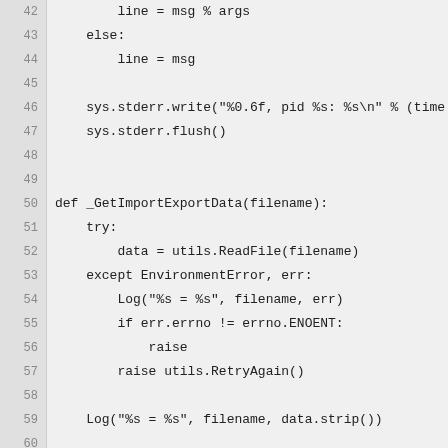[Figure (screenshot): Python source code snippet showing lines 42-68, including functions _GetImportExportData and _CheckConnected with try/except blocks, logging, and return statements.]